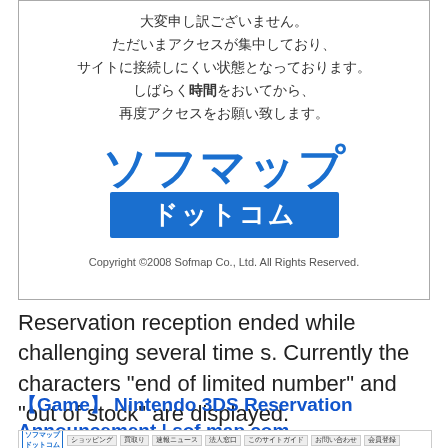[Figure (screenshot): Screenshot of Sofmap website error page in Japanese with Sofmap logo (ソフマップ / ドットコム) and copyright notice. Japanese text says the site is experiencing high access and asks users to try again later.]
Reservation reception ended while challenging several times. Currently the characters "end of limited number" and "out of stock" are displayed.
【Game】 Nintendo 3DS Reservation Announcement | sofmap.com
[Figure (screenshot): Screenshot of sofmap.com website navigation bar.]